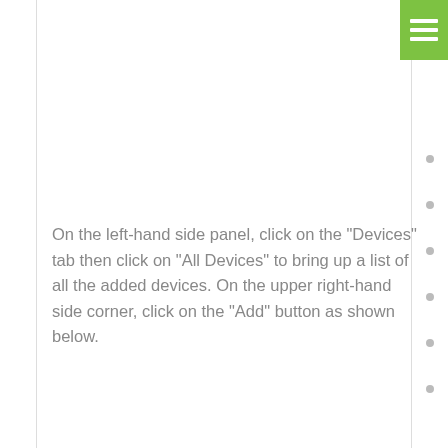[Figure (screenshot): Green hamburger menu button in top-right corner with three white horizontal bars]
[Figure (other): Six circular navigation dots on the right side border]
On the left-hand side panel, click on the "Devices" tab then click on "All Devices" to bring up a list of all the added devices. On the upper right-hand side corner, click on the "Add" button as shown below.